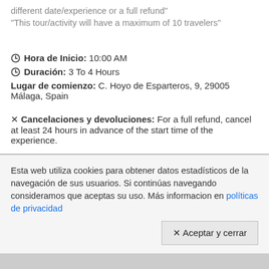different date/experience or a full refund"
"This tour/activity will have a maximum of 10 travelers"
⊙ Hora de Inicio: 10:00 AM
⊙ Duración: 3 To 4 Hours
Lugar de comienzo: C. Hoyo de Esparteros, 9, 29005 Málaga, Spain
✕ Cancelaciones y devoluciones: For a full refund, cancel at least 24 hours in advance of the start time of the experience.
Esta web utiliza cookies para obtener datos estadísticos de la navegación de sus usuarios. Si continúas navegando consideramos que aceptas su uso. Más informacion en políticas de privacidad
✕ Aceptar y cerrar